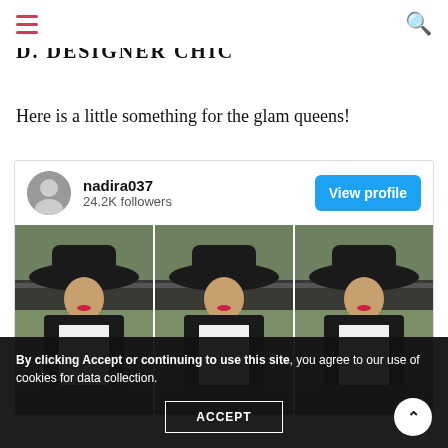D. DESIGNER CHIC
Here is a little something for the glam queens!
[Figure (screenshot): Social media profile card for user nadira037 with 24.2K followers and a 'View profile' button, showing three repeated photos of a woman wearing a black wide-brim hat, hijab, and white top outdoors.]
By clicking Accept or continuing to use this site, you agree to our use of cookies for data collection.